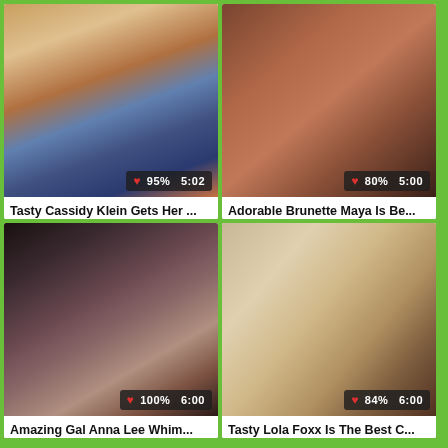[Figure (photo): Video thumbnail showing a young brunette woman sitting on a hotel bed]
Tasty Cassidy Klein Gets Her ...
[Figure (photo): Video thumbnail showing a close-up skin image]
Adorable Brunette Maya Is Be...
[Figure (photo): Video thumbnail showing a dark-haired woman]
Amazing Gal Anna Lee Whim...
[Figure (photo): Video thumbnail showing a close-up image]
Tasty Lola Foxx Is The Best C...